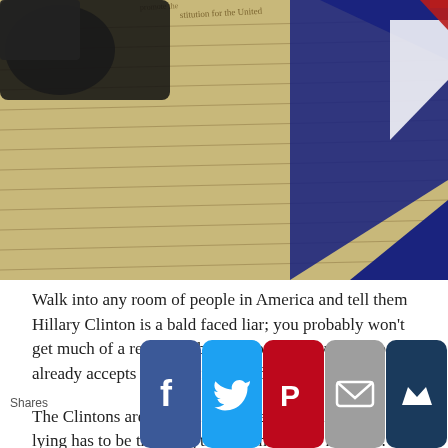[Figure (photo): Photo of a gun, a handwritten Constitution document, and an American flag folded on top]
Walk into any room of people in America and tell them Hillary Clinton is a bald faced liar; you probably won't get much of a response, because practically everybody already accepts that statement as fact.
The Clintons are well-known for a lot of things, but lying has to be the thing they're known the most for.
They represent the classic slippery politician. One day they're
[Figure (infographic): Social sharing bar with Facebook, Twitter, Pinterest, Email, and Crown (bookmark) buttons, and a Shares label on the left]